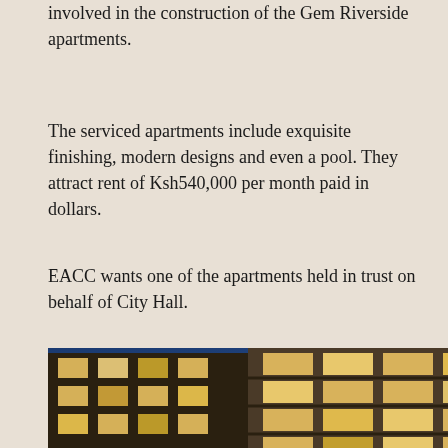involved in the construction of the Gem Riverside apartments.
The serviced apartments include exquisite finishing, modern designs and even a pool. They attract rent of Ksh540,000 per month paid in dollars.
EACC wants one of the apartments held in trust on behalf of City Hall.
[Figure (photo): Exterior night photograph of a tall modern apartment building (Gem Riverside) with illuminated windows against a blue dusk sky. Multiple floors visible with balconies and large windows glowing with warm yellow light.]